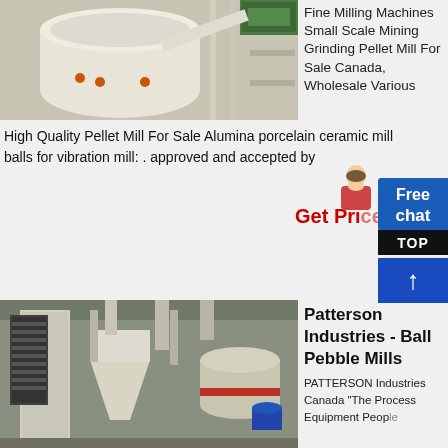[Figure (photo): Industrial milling machine in a white room, large cylindrical grinding mill equipment]
Fine Milling Machines Small Scale Mining Grinding Pellet Mill For Sale Canada, Wholesale Various
High Quality Pellet Mill For Sale Alumina porcelain ceramic mill balls for vibration mill: . approved and accepted by
Get Pri...
[Figure (photo): Large industrial ball mill / grinding mill machinery inside a factory or warehouse building]
Patterson Industries - Ball Pebble Mills
PATTERSON Industries Canada "The Process Equipment People"